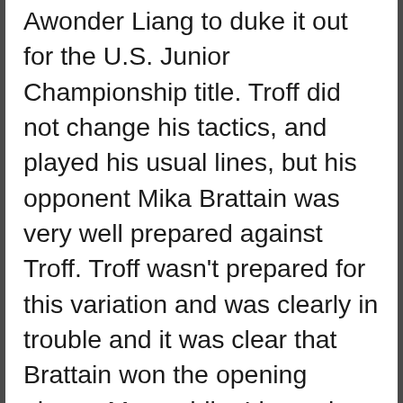Awonder Liang to duke it out for the U.S. Junior Championship title. Troff did not change his tactics, and played his usual lines, but his opponent Mika Brattain was very well prepared against Troff. Troff wasn't prepared for this variation and was clearly in trouble and it was clear that Brattain won the opening phase. Meanwhile, Liang also had to get acquainted with a type of position he had not seen before. Michael Brown played the Berlin Defence, and an early d6. Liang did not seem to be familiar, so it was clear that there would be a long struggle! Hours later Mika Brattain played the courageous 16.d5!, which seemed to me to be the strongest and most natural. He followed it up with energetic play, centralizing his pieces with 18. Rad1! and 19 e5!, Troff was forced into